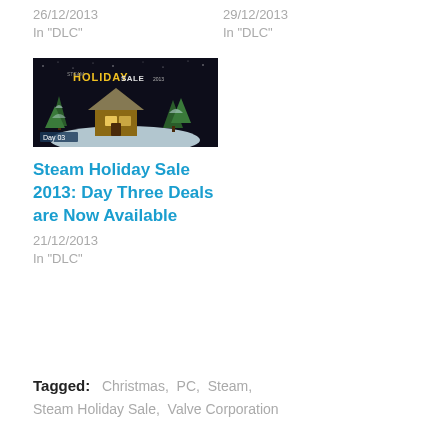26/12/2013
In "DLC"
29/12/2013
In "DLC"
[Figure (photo): Steam Holiday Sale 2013 promotional image showing a snow globe with a winter cabin scene, labeled 'Day 03']
Steam Holiday Sale 2013: Day Three Deals are Now Available
21/12/2013
In "DLC"
Tagged:   Christmas,  PC,  Steam,  Steam Holiday Sale,  Valve Corporation